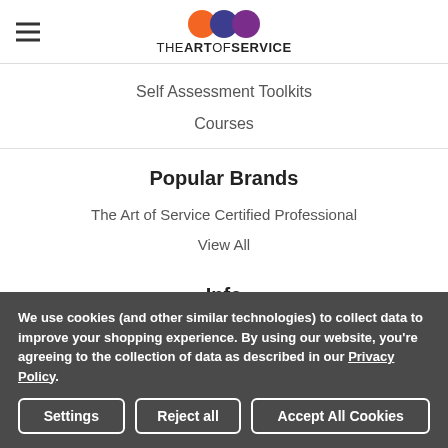THE ART OF SERVICE
Self Assessment Toolkits
Courses
Popular Brands
The Art of Service Certified Professional
View All
Info
We use cookies (and other similar technologies) to collect data to improve your shopping experience. By using our website, you're agreeing to the collection of data as described in our Privacy Policy.